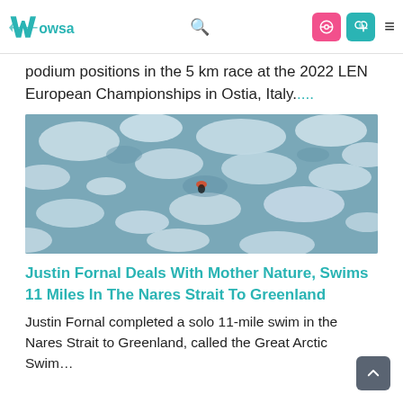WOWSA [logo/navigation bar with search, login buttons, and hamburger menu]
podium positions in the 5 km race at the 2022 LEN European Championships in Ostia, Italy....
[Figure (photo): Aerial view of a swimmer swimming through icy arctic waters surrounded by chunks of floating ice]
Justin Fornal Deals With Mother Nature, Swims 11 Miles In The Nares Strait To Greenland
Justin Fornal completed a solo 11-mile swim in the Nares Strait to Greenland, called the Great Arctic Swim…